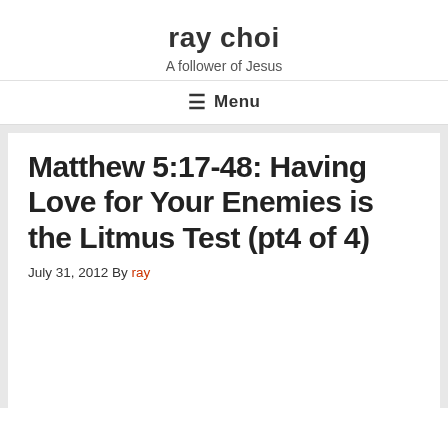ray choi
A follower of Jesus
≡ Menu
Matthew 5:17-48: Having Love for Your Enemies is the Litmus Test (pt4 of 4)
July 31, 2012 By ray